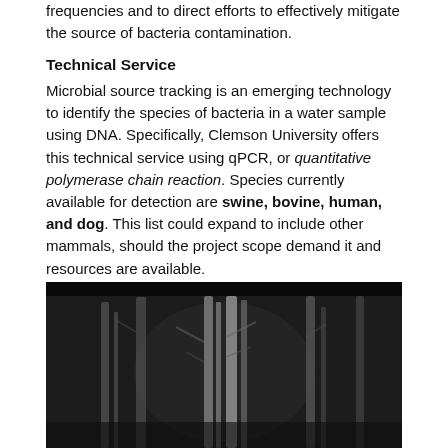frequencies and to direct efforts to effectively mitigate the source of bacteria contamination.
Technical Service
Microbial source tracking is an emerging technology to identify the species of bacteria in a water sample using DNA. Specifically, Clemson University offers this technical service using qPCR, or quantitative polymerase chain reaction. Species currently available for detection are swine, bovine, human, and dog. This list could expand to include other mammals, should the project scope demand it and resources are available.
[Figure (photo): Black and white nighttime or low-light photograph of trees, possibly a forest scene with bare or sparse tree trunks visible against a dark background.]